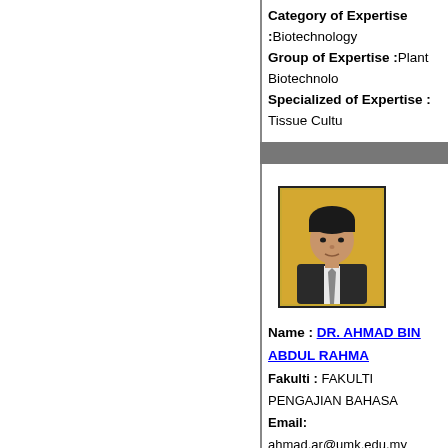Category of Expertise :Biotechnology
Group of Expertise :Plant Biotechnology
Specialized of Expertise : Tissue Culture
[Figure (photo): Headshot photo of DR. AHMAD BIN ABDUL RAHMAN on yellow background, wearing suit and tie]
Name : DR. AHMAD BIN ABDUL RAHMAN
Fakulti : FAKULTI PENGAJIAN BAHASA
Email: ahmad.ar@umk.edu.my
Area of Expertise :
Category of Expertise :Arts & Literature
Group of Expertise :Arts & Literature
Specialized of Expertise : Arts & Literature
Category of Expertise :Humanities